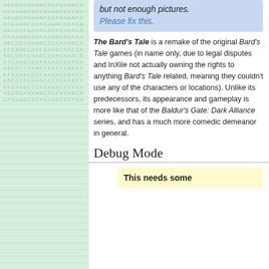[Figure (other): Left sidebar with green tinted background and repeated text pattern]
but not enough pictures. Please fix this.
The Bard's Tale is a remake of the original Bard's Tale games (in name only, due to legal disputes and InXile not actually owning the rights to anything Bard's Tale related, meaning they couldn't use any of the characters or locations). Unlike its predecessors, its appearance and gameplay is more like that of the Baldur's Gate: Dark Alliance series, and has a much more comedic demeanor in general.
Debug Mode
This needs some